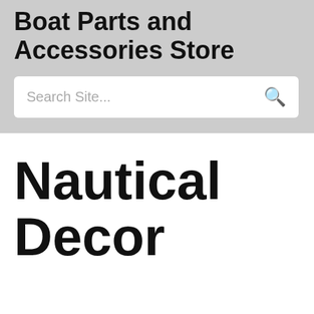Nautical Decor Clocks Boat Parts and Accessories Store
Search Site...
Nautical Decor